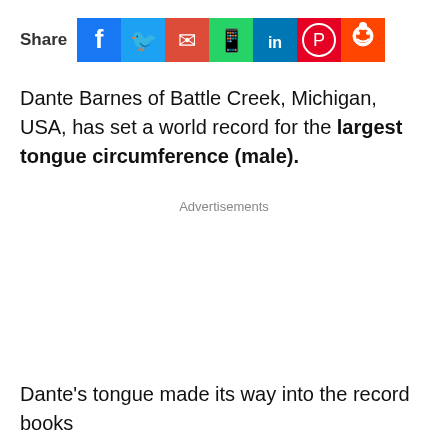[Figure (other): Social media share bar with icons for Facebook, Twitter, Email, WhatsApp, LinkedIn, Pinterest, and Reddit]
Dante Barnes of Battle Creek, Michigan, USA, has set a world record for the largest tongue circumference (male).
Advertisements
Dante's tongue made its way into the record books